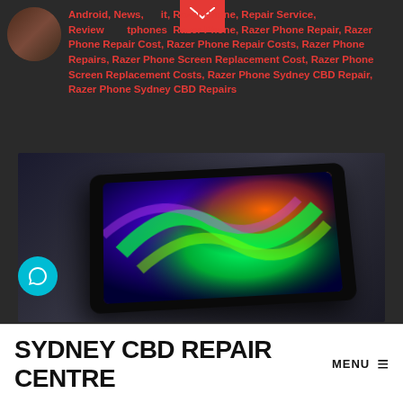Android, News, it, Razer Phone, Repair Service, Reviews, Smartphones, Razer Phone, Razer Phone Repair, Razer Phone Repair Cost, Razer Phone Repair Costs, Razer Phone Repairs, Razer Phone Screen Replacement Cost, Razer Phone Screen Replacement Costs, Razer Phone Sydney CBD Repair, Razer Phone Sydney CBD Repairs
[Figure (photo): Razer Phone lying diagonally on a dark surface, screen displaying colorful abstract wallpaper with green, purple, and orange swirls]
SYDNEY CBD REPAIR CENTRE MENU ≡